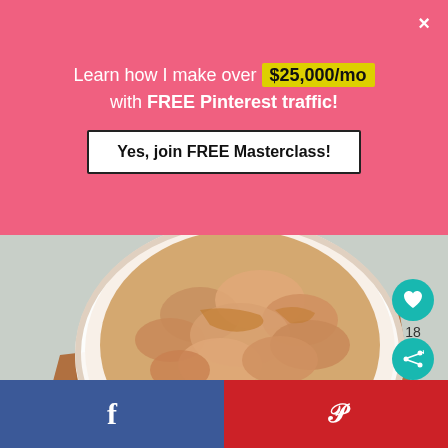Learn how I make over $25,000/mo with FREE Pinterest traffic!
[Figure (other): Button: Yes, join FREE Masterclass!]
[Figure (photo): Close-up photo of a bowl of food (possibly oatmeal or chopped nuts) on a wooden cutting board with a gray cloth underneath]
[Figure (other): Teal heart button with count 18, and teal share button]
[Figure (other): Bottom social sharing bar: Facebook (blue, f icon) and Pinterest (red, P icon) buttons]